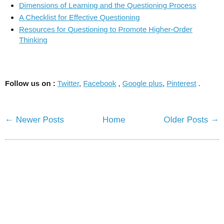Dimensions of Learning and the Questioning Process
A Checklist for Effective Questioning
Resources for Questioning to Promote Higher-Order Thinking
Follow us on : Twitter, Facebook , Google plus, Pinterest .
← Newer Posts   Home   Older Posts →